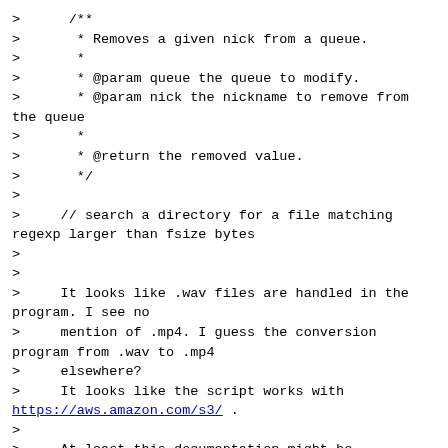>      /**
>       * Removes a given nick from a queue.
>       *
>       * @param queue the queue to modify.
>       * @param nick the nickname to remove from the queue
>       *
>       * @return the removed value.
>       */
>
>     // search a directory for a file matching regexp larger than fsize bytes
>
>
>     It looks like .wav files are handled in the program. I see no
>     mention of .mp4. I guess the conversion program from .wav to .mp4
>     elsewhere?
>     It looks like the script works with https://aws.amazon.com/s3/ .
>
>     At least this documentation might be functionally equivalent.
>     https://www.voip-info.org/asterisk-manager-api/
>     The wiki might be useful, but it is difficult to find a starting
>     point.